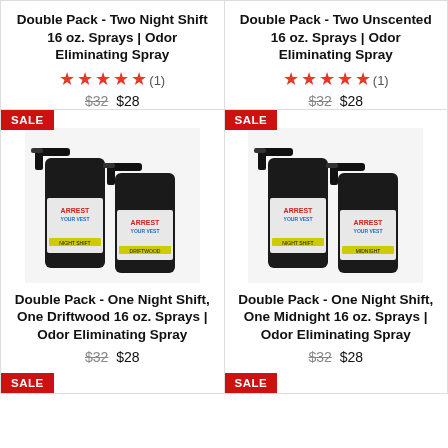Double Pack - Two Night Shift 16 oz. Sprays | Odor Eliminating Spray
★★★★★ (1) $32 $28 SALE
Double Pack - Two Unscented 16 oz. Sprays | Odor Eliminating Spray
★★★★★ (1) $32 $28 SALE
[Figure (photo): Two black spray bottles with Arrest Your Vest branding, Night Shift and Driftwood scents]
Double Pack - One Night Shift, One Driftwood 16 oz. Sprays | Odor Eliminating Spray
$32 $28 SALE
[Figure (photo): Two black spray bottles with Arrest Your Vest branding, Night Shift and Midnight scents]
Double Pack - One Night Shift, One Midnight 16 oz. Sprays | Odor Eliminating Spray
$32 $28 SALE